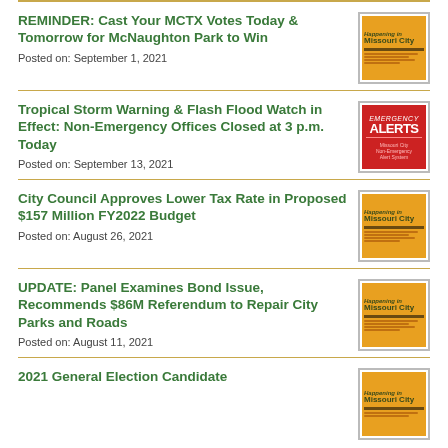REMINDER: Cast Your MCTX Votes Today & Tomorrow for McNaughton Park to Win
Posted on: September 1, 2021
Tropical Storm Warning & Flash Flood Watch in Effect: Non-Emergency Offices Closed at 3 p.m. Today
Posted on: September 13, 2021
City Council Approves Lower Tax Rate in Proposed $157 Million FY2022 Budget
Posted on: August 26, 2021
UPDATE: Panel Examines Bond Issue, Recommends $86M Referendum to Repair City Parks and Roads
Posted on: August 11, 2021
2021 General Election Candidate